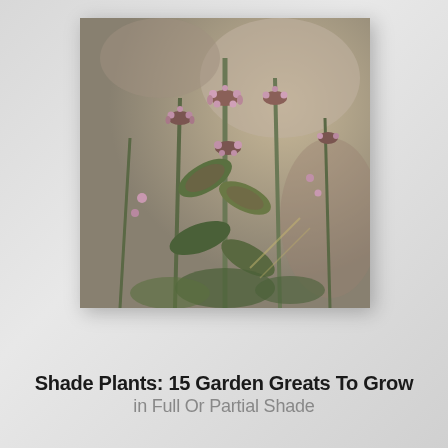[Figure (photo): Close-up photograph of shade plants with pinkish-purple small flowers and green-reddish leaves, multiple stems in bloom against a blurred natural background]
Shade Plants: 15 Garden Greats To Grow in Full Or Partial Shade